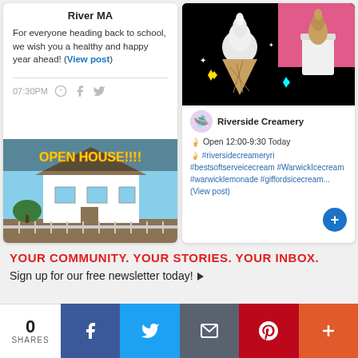River MA
For everyone heading back to school, we wish you a healthy and happy year ahead! (View post)
07:30PM
[Figure (photo): Open House image showing a house with 'OPEN HOUSE!!!!' text overlay]
[Figure (photo): Ice cream cones and cup against black background with sparkle decorations]
Riverside Creamery
Open 12:00-9:30 Today #riversidecreameryri #bestsoftserveicecream #WarwickIcecream #warwicklemonade #giffordsicecream... (View post)
YOUR COMMUNITY. YOUR STORIES. YOUR INBOX.
Sign up for our free newsletter today!
0 SHARES